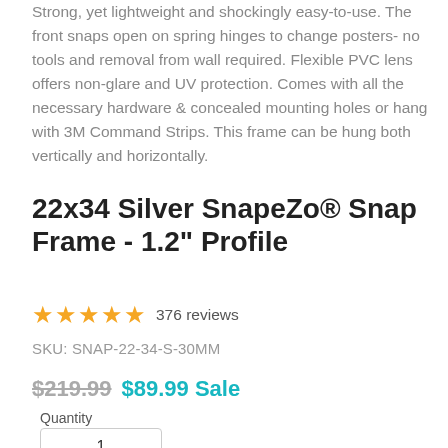Strong, yet lightweight and shockingly easy-to-use. The front snaps open on spring hinges to change posters- no tools and removal from wall required. Flexible PVC lens offers non-glare and UV protection. Comes with all the necessary hardware & concealed mounting holes or hang with 3M Command Strips. This frame can be hung both vertically and horizontally.
22x34 Silver SnapeZo® Snap Frame - 1.2" Profile
★★★★★ 376 reviews
SKU: SNAP-22-34-S-30MM
$219.99  $89.99 Sale
Quantity
1